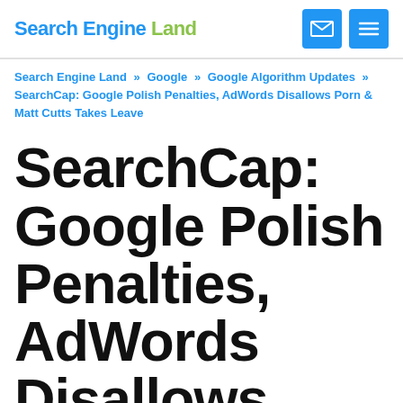Search Engine Land
Search Engine Land » Google » Google Algorithm Updates » SearchCap: Google Polish Penalties, AdWords Disallows Porn & Matt Cutts Takes Leave
SearchCap: Google Polish Penalties, AdWords Disallows Porn & Matt Cutts Takes Leave